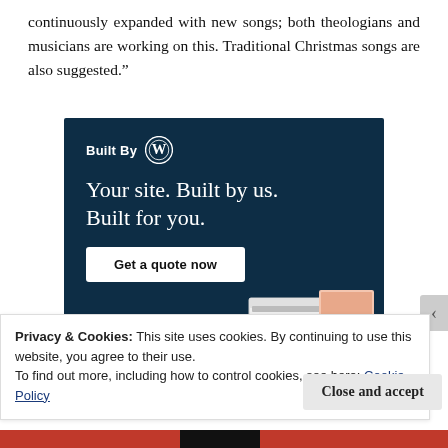continuously expanded with new songs; both theologians and musicians are working on this. Traditional Christmas songs are also suggested.”
[Figure (advertisement): WordPress 'Built By' advertisement with dark navy background. Shows 'Built By' with WordPress logo, headline 'Your site. Built by us. Built for you.', a 'Get a quote now' button, and website screenshot mockups on the right side.]
Privacy & Cookies: This site uses cookies. By continuing to use this website, you agree to their use.
To find out more, including how to control cookies, see here: Cookie Policy
Close and accept